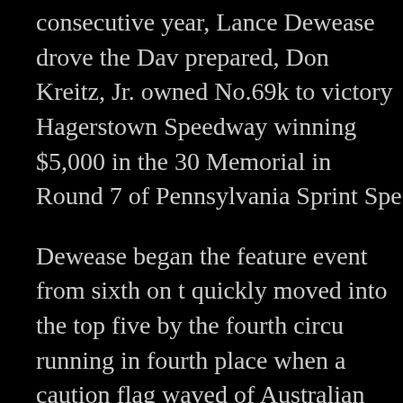consecutive year, Lance Dewease drove the Dav prepared, Don Kreitz, Jr. owned No.69k to victory Hagerstown Speedway winning $5,000 in the 30 Memorial in Round 7 of Pennsylvania Sprint Spe
Dewease began the feature event from sixth on t quickly moved into the top five by the fourth circu running in fourth place when a caution flag waved of Australian racer Jesse Attard on lap seven.
Pole starter Greg Hodnett led the way from the st followed by fellow front row starter Ryan Smith, w Rahmer in tow ahead of Dewease on the restart.
It took two laps for Dewease to move past Rahme the runner-up spot, albeit about a half-straightawa Hodnett. Hodnett held that advantage approxima seconds ahead of Dewease at the halfway point